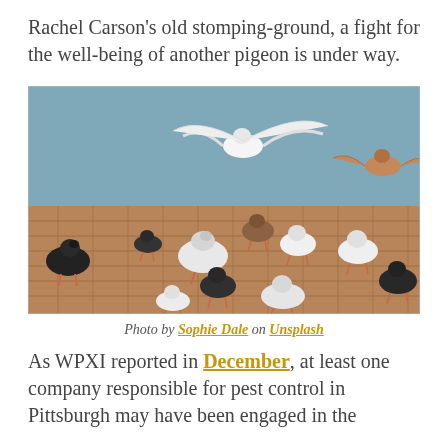Rachel Carson's old stomping-ground, a fight for the well-being of another pigeon is under way.
[Figure (photo): A flock of pigeons, mostly white and black/dark, standing and flying on a brick-paved surface near water. One white bird is in flight with wings spread.]
Photo by Sophie Dale on Unsplash
As WPXI reported in December, at least one company responsible for pest control in Pittsburgh may have been engaged in the